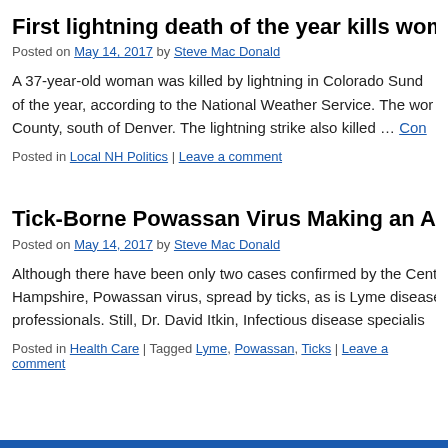First lightning death of the year kills wom…
Posted on May 14, 2017 by Steve Mac Donald
A 37-year-old woman was killed by lightning in Colorado Sund… of the year, according to the National Weather Service. The wor… County, south of Denver. The lightning strike also killed … Con…
Posted in Local NH Politics | Leave a comment
Tick-Borne Powassan Virus Making an Ap…
Posted on May 14, 2017 by Steve Mac Donald
Although there have been only two cases confirmed by the Cent… Hampshire, Powassan virus, spread by ticks, as is Lyme disease… professionals. Still, Dr. David Itkin, Infectious disease specialis…
Posted in Health Care | Tagged Lyme, Powassan, Ticks | Leave a comment